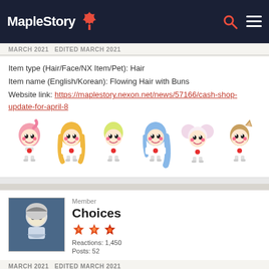MapleStory
MARCH 2021   EDITED MARCH 2021
Item type (Hair/Face/NX Item/Pet): Hair
Item name (English/Korean): Flowing Hair with Buns
Website link: https://maplestory.nexon.net/news/57166/cash-shop-update-for-april-8
[Figure (illustration): Six anime-style chibi characters displaying different hair colors for the Flowing Hair with Buns style: pink, blonde/orange, yellow-green, blue, white/pink, and brown with ears.]
Member
Choices
[Figure (illustration): Three orange/red badge icons representing user achievements.]
Reactions: 1,450
Posts: 52
MARCH 2021   EDITED MARCH 2021